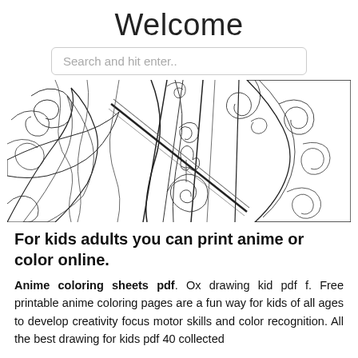Welcome
Search and hit enter..
[Figure (illustration): Black and white anime-style coloring page illustration showing elaborate decorative swirls, fabric folds, and ornate patterns — a detailed coloring sheet for kids and adults.]
For kids adults you can print anime or color online.
Anime coloring sheets pdf. Ox drawing kid pdf f. Free printable anime coloring pages are a fun way for kids of all ages to develop creativity focus motor skills and color recognition. All the best drawing for kids pdf 40 collected